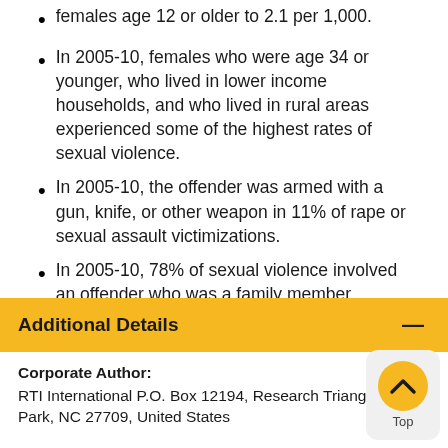females age 12 or older to 2.1 per 1,000.
In 2005-10, females who were age 34 or younger, who lived in lower income households, and who lived in rural areas experienced some of the highest rates of sexual violence.
In 2005-10, the offender was armed with a gun, knife, or other weapon in 11% of rape or sexual assault victimizations.
In 2005-10, 78% of sexual violence involved an offender who was a family member, intimate partner, friend, or acquaintance.
Additional Details
Corporate Author: RTI International P.O. Box 12194, Research Triangle Park, NC 27709, United States